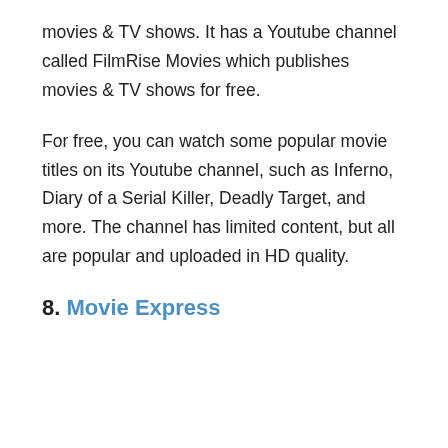movies & TV shows. It has a Youtube channel called FilmRise Movies which publishes movies & TV shows for free.
For free, you can watch some popular movie titles on its Youtube channel, such as Inferno, Diary of a Serial Killer, Deadly Target, and more. The channel has limited content, but all are popular and uploaded in HD quality.
8. Movie Express